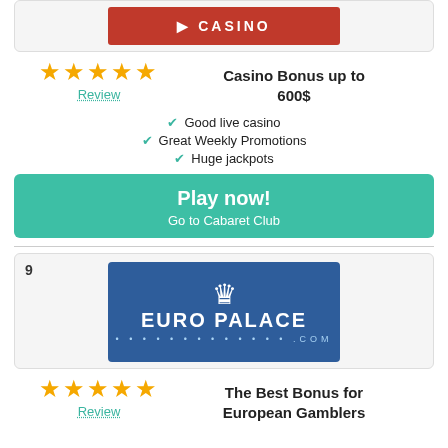[Figure (logo): Casino logo on red background at top]
[Figure (logo): Five gold stars rating]
Review
Casino Bonus up to 600$
Good live casino
Great Weekly Promotions
Huge jackpots
Play now! Go to Cabaret Club
9
[Figure (logo): Euro Palace Casino logo — white crown and EUROPALACE text on dark blue background with .COM and stars]
[Figure (logo): Five gold stars rating]
Review
The Best Bonus for European Gamblers